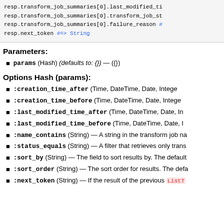[Figure (screenshot): Code block showing Ruby API response object properties including transform_job_summaries and next_token]
Parameters:
params (Hash) (defaults to: {}) — ({})
Options Hash (params):
:creation_time_after (Time, DateTime, Date, Integer)
:creation_time_before (Time, DateTime, Date, Integer)
:last_modified_time_after (Time, DateTime, Date, In...)
:last_modified_time_before (Time, DateTime, Date, I...)
:name_contains (String) — A string in the transform job na...
:status_equals (String) — A filter that retrieves only trans...
:sort_by (String) — The field to sort results by. The default...
:sort_order (String) — The sort order for results. The defa...
:next_token (String) — If the result of the previous ListT...